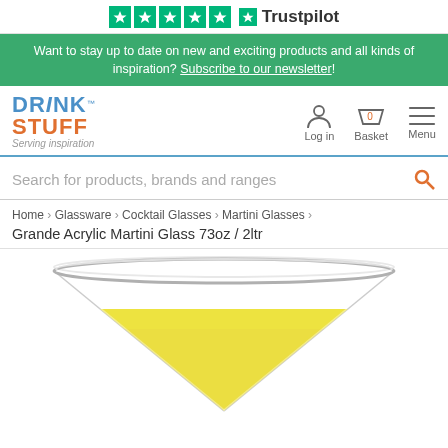[Figure (logo): Trustpilot 5-star rating logo with green stars and Trustpilot branding]
Want to stay up to date on new and exciting products and all kinds of inspiration? Subscribe to our newsletter!
[Figure (logo): DrinkStuff logo with blue DRINK and orange STUFF text, tagline Serving inspiration]
Log in
Basket 0
Menu
Search for products, brands and ranges
Home > Glassware > Cocktail Glasses > Martini Glasses >
Grande Acrylic Martini Glass 73oz / 2ltr
[Figure (photo): Large acrylic martini glass filled with yellow liquid viewed from above at an angle, showing the wide triangular bowl shape]